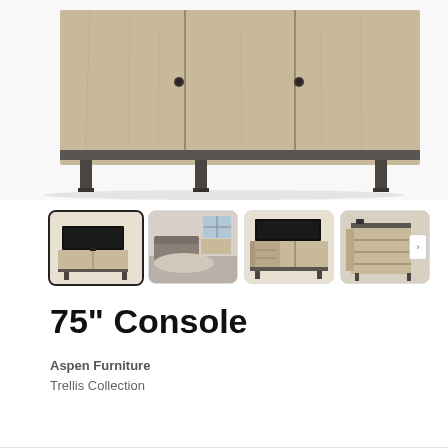[Figure (photo): Close-up top portion of a wooden TV console with light gray-brown wood finish and dark metal legs, showing cabinet doors with dark pulls]
[Figure (photo): Thumbnail 1 (selected): Full view of 75 inch console with TV on top, light wood finish, dark metal legs]
[Figure (photo): Thumbnail 2: Room scene showing the console in a living room setting with sofa and chairs]
[Figure (photo): Thumbnail 3: Console with doors open showing interior storage, TV on top]
[Figure (photo): Thumbnail 4: Angled view of console showing open compartments/shelving on the side]
75" Console
Aspen Furniture
Trellis Collection